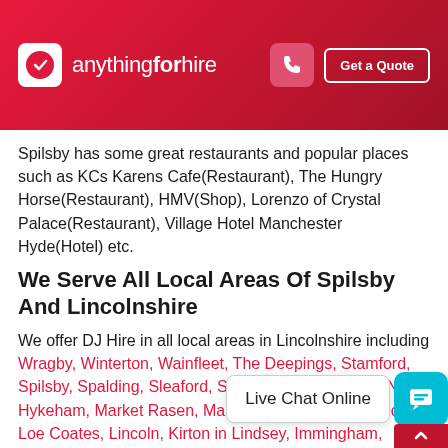[Figure (logo): anythingforhire logo with red background header, phone icon button and Get a Quote button]
Spilsby has some great restaurants and popular places such as KCs Karens Cafe(Restaurant), The Hungry Horse(Restaurant), HMV(Shop), Lorenzo of Crystal Palace(Restaurant), Village Hotel Manchester Hyde(Hotel) etc.
We Serve All Local Areas Of Spilsby And Lincolnshire
We offer DJ Hire in all local areas in Lincolnshire including Wragby, Winterton, Wainfleet, The Deepings, Stamford, Spilsby, Spalding, Sleaford, Skegness, Scunthorpe, North Hykeham, Market Rasen, Ma...ho and Sutton, Mablethorpe, Lo...e Coates, Lincoln, Kirton in Lindsey, Immingham,
[Figure (other): Live Chat Online popup with teal chat icon button]